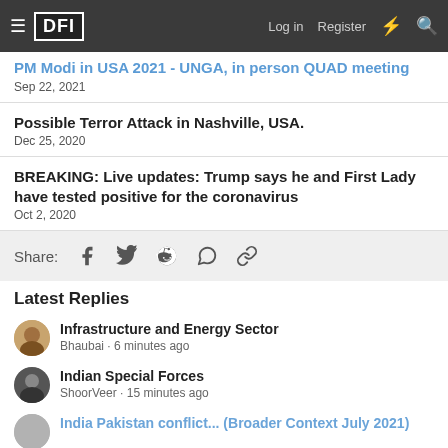DFI — Log in | Register
PM Modi in USA 2021 - UNGA, in person QUAD meeting
Sep 22, 2021
Possible Terror Attack in Nashville, USA.
Dec 25, 2020
BREAKING: Live updates: Trump says he and First Lady have tested positive for the coronavirus
Oct 2, 2020
Share:
Latest Replies
Infrastructure and Energy Sector
Bhaubai · 6 minutes ago
Indian Special Forces
ShoorVeer · 15 minutes ago
India Pakistan conflict... (Broader Context July 2021)